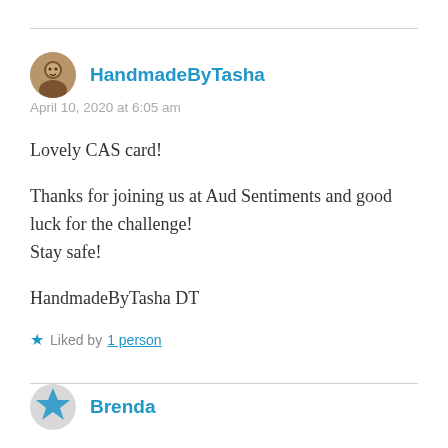HandmadeByTasha
April 10, 2020 at 6:05 am
Lovely CAS card!

Thanks for joining us at Aud Sentiments and good luck for the challenge!
Stay safe!

HandmadeByTasha DT
Liked by 1 person
Brenda